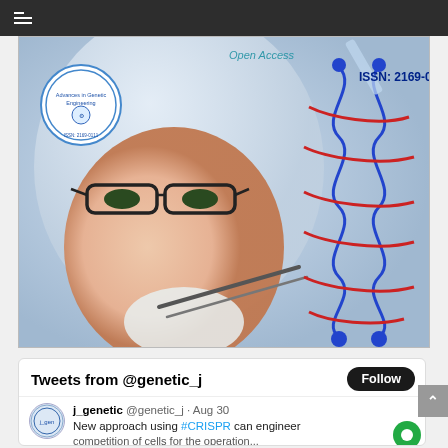[Figure (screenshot): Navigation bar at top of webpage with dark background and hamburger menu icon]
[Figure (photo): Journal cover image for Advances in Genetic Engineering showing a scientist with glasses examining a DNA double helix structure with tweezers. Text reads 'Open Access' and 'ISSN: 2169-0111'. A circular logo for the journal is visible in top left.]
Tweets from @genetic_j
Follow
j_genetic @genetic_j · Aug 30
New approach using #CRISPR can engineer competition of cells for the operation...